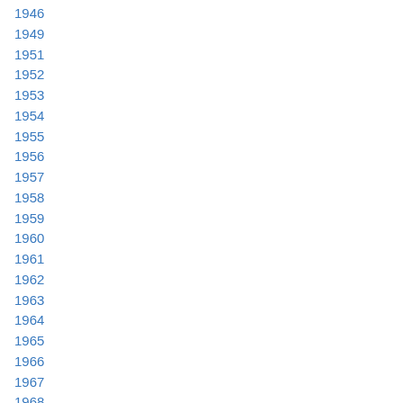1946
1949
1951
1952
1953
1954
1955
1956
1957
1958
1959
1960
1961
1962
1963
1964
1965
1966
1967
1968